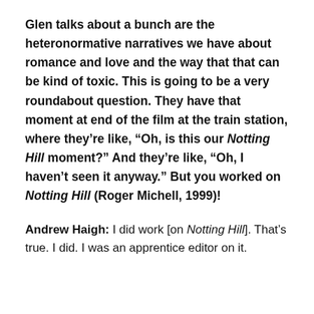Glen talks about a bunch are the heteronormative narratives we have about romance and love and the way that that can be kind of toxic. This is going to be a very roundabout question. They have that moment at end of the film at the train station, where they're like, “Oh, is this our Notting Hill moment?” And they’re like, “Oh, I haven’t seen it anyway.” But you worked on Notting Hill (Roger Michell, 1999)!
Andrew Haigh: I did work [on Notting Hill]. That’s true. I did. I was an apprentice editor on it.